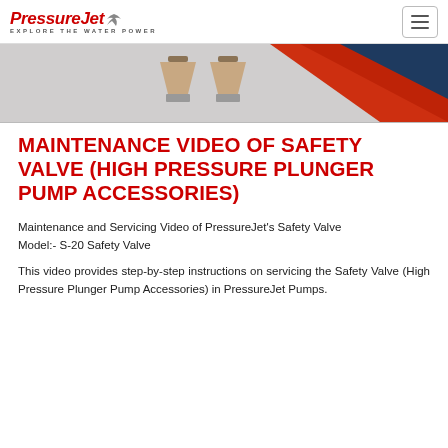PressureJet — EXPLORE THE WATER POWER
[Figure (photo): Banner image showing safety valve parts (funnel-shaped components) with a red and dark blue diagonal graphic element on the right side]
MAINTENANCE VIDEO OF SAFETY VALVE (HIGH PRESSURE PLUNGER PUMP ACCESSORIES)
Maintenance and Servicing Video of PressureJet's Safety Valve
Model:- S-20 Safety Valve
This video provides step-by-step instructions on servicing the Safety Valve (High Pressure Plunger Pump Accessories) in PressureJet Pumps.